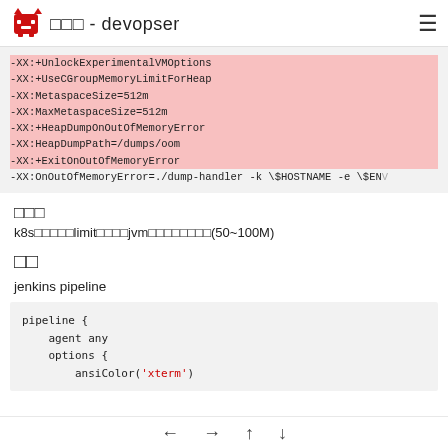□□□ - devopser
-XX:+UnlockExperimentalVMOptions
-XX:+UseCGroupMemoryLimitForHeap
-XX:MetaspaceSize=512m
-XX:MaxMetaspaceSize=512m
-XX:+HeapDumpOnOutOfMemoryError
-XX:HeapDumpPath=/dumps/oom
-XX:+ExitOnOutOfMemoryError
-XX:OnOutOfMemoryError=./dump-handler -k \$HOSTNAME -e \$ENV
□□□
k8s□□□□□limit□□□□jvm□□□□□□□□(50~100M)
□□
jenkins pipeline
pipeline {
    agent any
    options {
        ansiColor('xterm')